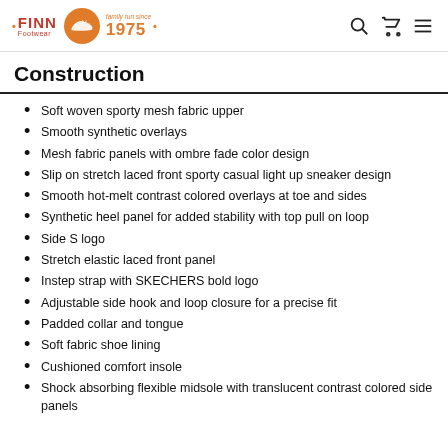FINN Footwear – family run since 1975
Construction
Soft woven sporty mesh fabric upper
Smooth synthetic overlays
Mesh fabric panels with ombre fade color design
Slip on stretch laced front sporty casual light up sneaker design
Smooth hot-melt contrast colored overlays at toe and sides
Synthetic heel panel for added stability with top pull on loop
Side S logo
Stretch elastic laced front panel
Instep strap with SKECHERS bold logo
Adjustable side hook and loop closure for a precise fit
Padded collar and tongue
Soft fabric shoe lining
Cushioned comfort insole
Shock absorbing flexible midsole with translucent contrast colored side panels